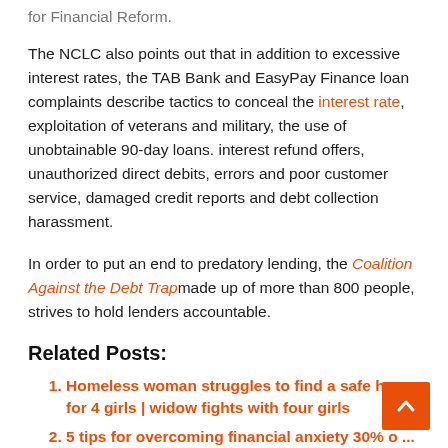for Financial Reform.
The NCLC also points out that in addition to excessive interest rates, the TAB Bank and EasyPay Finance loan complaints describe tactics to conceal the interest rate, exploitation of veterans and military, the use of unobtainable 90-day loans. interest refund offers, unauthorized direct debits, errors and poor customer service, damaged credit reports and debt collection harassment.
In order to put an end to predatory lending, the Coalition Against the Debt Trap made up of more than 800 people, strives to hold lenders accountable.
Related Posts:
Homeless woman struggles to find a safe haven for 4 girls | widow fights with four girls
5 tips for overcoming financial anxiety 30% o ...
Pursuing higher education now easier in Bengal
Know these rules before filing an ITR if you have